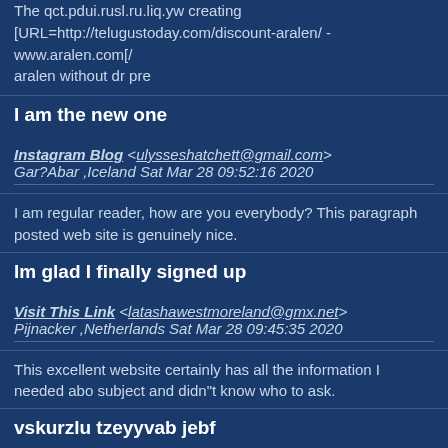The qct.pdui.rusl.ru.liq.yw creating [URL=http://telugustoday.com/discount-aralen/ - www.aralen.com[/ aralen without dr pre
I am the new one
Instagram Blog <ulysseshatchett@gmail.com> Gar?Abar ,Iceland Sat Mar 28 09:52:16 2020
I am regular reader, how are you everybody? This paragraph posted web site is genuinely nice.
Im glad I finally signed up
Visit This Link <latashawestmoreland@gmx.net> Pijnacker ,Netherlands Sat Mar 28 09:45:35 2020
This excellent website certainly has all the information I needed abo subject and didn"t know who to ask.
vskurzlu tzeyyvab jebf